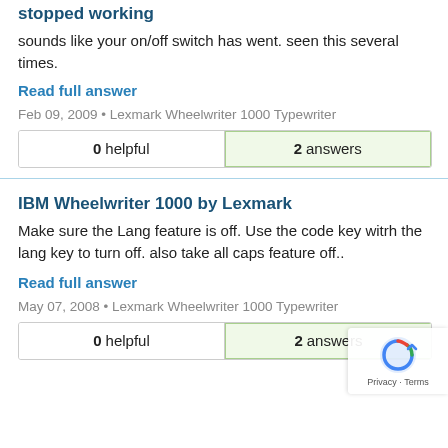stopped working
sounds like your on/off switch has went. seen this several times.
Read full answer
Feb 09, 2009 • Lexmark Wheelwriter 1000 Typewriter
| 0 helpful | 2 answers |
| --- | --- |
IBM Wheelwriter 1000 by Lexmark
Make sure the Lang feature is off. Use the code key witrh the lang key to turn off. also take all caps feature off..
Read full answer
May 07, 2008 • Lexmark Wheelwriter 1000 Typewriter
| 0 helpful | 2 answers |
| --- | --- |